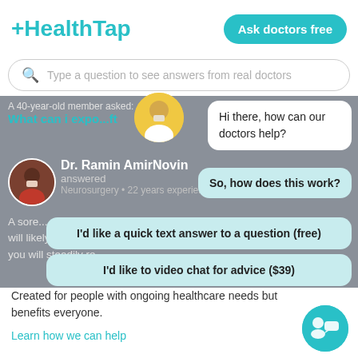[Figure (screenshot): HealthTap logo with teal color and plus sign prefix]
Ask doctors free
Type a question to see answers from real doctors
A 40-year-old member asked:
What can i expo...ft
Hi there, how can our doctors help?
Dr. Ramin AmirNovin
answered
Neurosurgery • 22 years experience
So, how does this work?
A sore...will likely have a sore , painful palm for 2-4 weeks. Thereafter you will steadily re...
I'd like a quick text answer to a question (free)
I'd like to video chat for advice ($39)
Created for people with ongoing healthcare needs but benefits everyone.
Learn how we can help